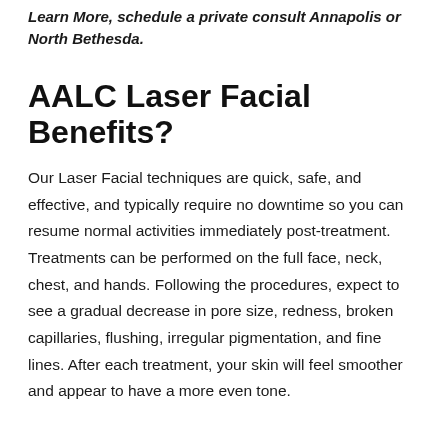Learn More, schedule a private consult Annapolis or North Bethesda.
AALC Laser Facial Benefits?
Our Laser Facial techniques are quick, safe, and effective, and typically require no downtime so you can resume normal activities immediately post-treatment. Treatments can be performed on the full face, neck, chest, and hands. Following the procedures, expect to see a gradual decrease in pore size, redness, broken capillaries, flushing, irregular pigmentation, and fine lines. After each treatment, your skin will feel smoother and appear to have a more even tone.